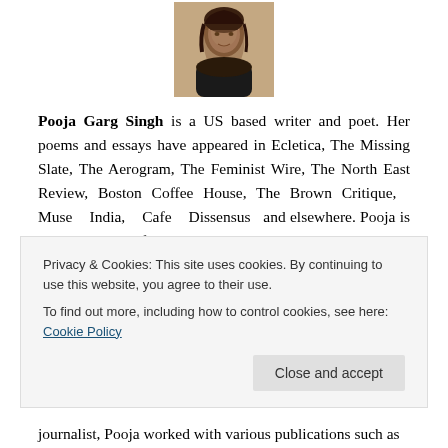[Figure (photo): Sepia-toned portrait photograph of Pooja Garg Singh, a woman with dark hair, centered at the top of the page.]
Pooja Garg Singh is a US based writer and poet. Her poems and essays have appeared in Ecletica, The Missing Slate, The Aerogram, The Feminist Wire, The North East Review, Boston Coffee House, The Brown Critique, Muse India, Cafe Dissensus and elsewhere. Pooja is Reviews Editor for Jaggery, a South Asian literary journal and host of Chicago She is a journalist, Pooja worked with various publications such as
Privacy & Cookies: This site uses cookies. By continuing to use this website, you agree to their use.
To find out more, including how to control cookies, see here: Cookie Policy